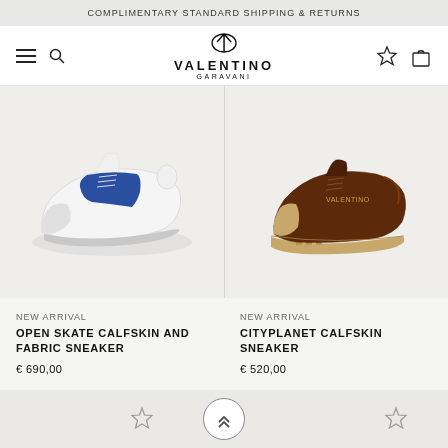COMPLIMENTARY STANDARD SHIPPING & RETURNS
[Figure (screenshot): Valentino Garavani website navigation bar with hamburger menu, search icon, Valentino Garavani logo, wishlist star icon, and shopping bag icon]
[Figure (photo): Open Skate Calfskin and Fabric Sneaker - white sneaker with blue stripe panel]
[Figure (photo): Cityplanet Calfskin Sneaker - brown leather sneaker with tan/beige sole]
NEW ARRIVAL
OPEN SKATE CALFSKIN AND FABRIC SNEAKER
€ 690,00
NEW ARRIVAL
CITYPLANET CALFSKIN SNEAKER
€ 520,00